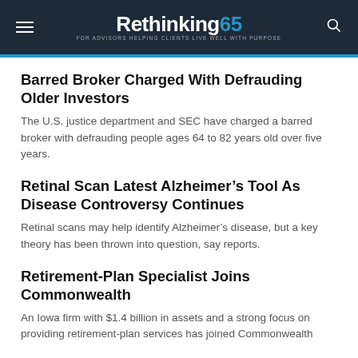Rethinking65 — For Advisors Helping Clients Live Well With Purpose
Barred Broker Charged With Defrauding Older Investors
The U.S. justice department and SEC have charged a barred broker with defrauding people ages 64 to 82 years old over five years.
Retinal Scan Latest Alzheimer’s Tool As Disease Controversy Continues
Retinal scans may help identify Alzheimer’s disease, but a key theory has been thrown into question, say reports.
Retirement-Plan Specialist Joins Commonwealth
An Iowa firm with $1.4 billion in assets and a strong focus on providing retirement-plan services has joined Commonwealth